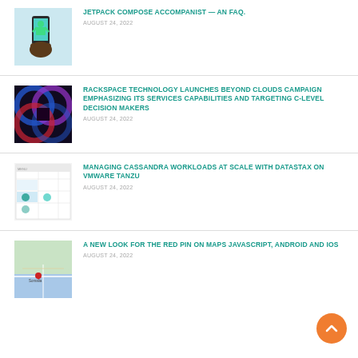[Figure (illustration): Hand holding a smartphone with Android logo on screen, light blue background]
JETPACK COMPOSE ACCOMPANIST — AN FAQ.
AUGUST 24, 2022
[Figure (illustration): Abstract colorful neon circle loops on dark background]
RACKSPACE TECHNOLOGY LAUNCHES BEYOND CLOUDS CAMPAIGN EMPHASIZING ITS SERVICES CAPABILITIES AND TARGETING C-LEVEL DECISION MAKERS
AUGUST 24, 2022
[Figure (screenshot): Screenshot of a dashboard or data management interface]
MANAGING CASSANDRA WORKLOADS AT SCALE WITH DATASTAX ON VMWARE TANZU
AUGUST 24, 2022
[Figure (map): Map showing geographical location with a red pin marker]
A NEW LOOK FOR THE RED PIN ON MAPS JAVASCRIPT, ANDROID AND IOS
AUGUST 24, 2022